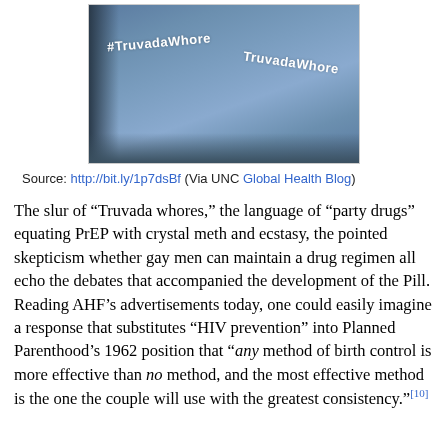[Figure (photo): Two people wearing blue #TruvadaWhore t-shirts]
Source: http://bit.ly/1p7dsBf (Via UNC Global Health Blog)
The slur of “Truvada whores,” the language of “party drugs” equating PrEP with crystal meth and ecstasy, the pointed skepticism whether gay men can maintain a drug regimen all echo the debates that accompanied the development of the Pill. Reading AHF’s advertisements today, one could easily imagine a response that substitutes “HIV prevention” into Planned Parenthood’s 1962 position that “any method of birth control is more effective than no method, and the most effective method is the one the couple will use with the greatest consistency.”[10]